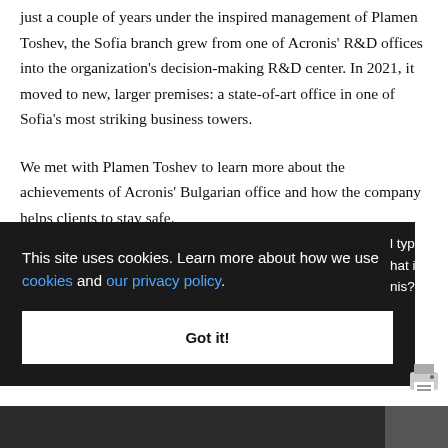just a couple of years under the inspired management of Plamen Toshev, the Sofia branch grew from one of Acronis' R&D offices into the organization's decision-making R&D center. In 2021, it moved to new, larger premises: a state-of-art office in one of Sofia's most striking business towers.
We met with Plamen Toshev to learn more about the achievements of Acronis' Bulgarian office and how the company helps clients to stay safe.
This site uses cookies. Learn more about how we use cookies and our privacy policy.
Got it!
l types hat is nis?